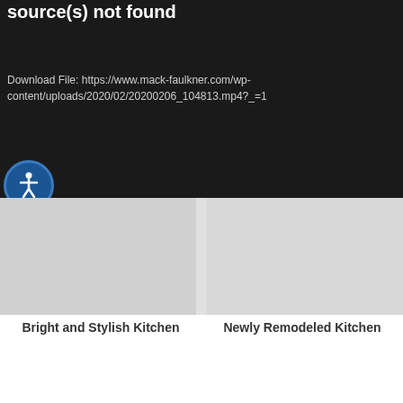Media error: Format(s) not supported or source(s) not found
Download File: https://www.mack-faulkner.com/wp-content/uploads/2020/02/20200206_104813.mp4?_=1
[Figure (illustration): Circular accessibility button with white person icon on dark blue background]
[Figure (photo): Two kitchen photos side by side - left showing Bright and Stylish Kitchen, right showing Newly Remodeled Kitchen]
Bright and Stylish Kitchen
Newly Remodeled Kitchen